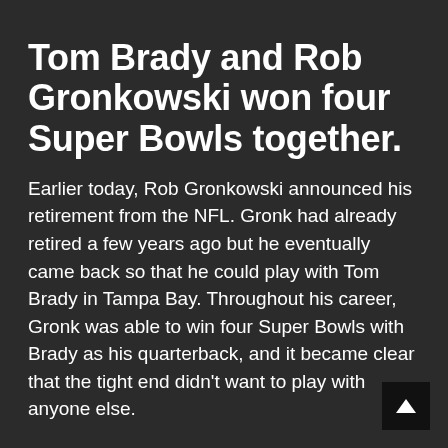Tom Brady and Rob Gronkowski won four Super Bowls together.
Earlier today, Rob Gronkowski announced his retirement from the NFL. Gronk had already retired a few years ago but he eventually came back so that he could play with Tom Brady in Tampa Bay. Throughout his career, Gronk was able to win four Super Bowls with Brady as his quarterback, and it became clear that the tight end didn’t want to play with anyone else.
To announce his retirement, Gronk took to Instagram with a lengthy message about just how much he loves the game. It was always Gronk’s